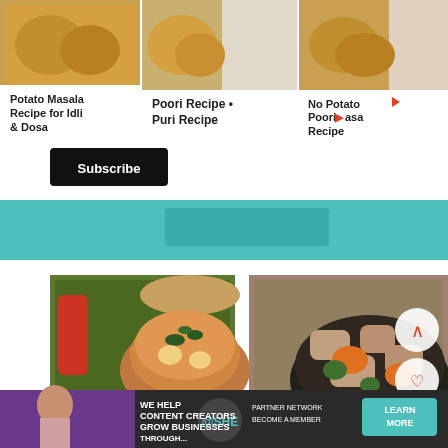[Figure (screenshot): Recipe website screenshot showing a video carousel at top with three recipe thumbnails (Potato Masala Recipe for Idli & Dosa, Poori Recipe Puri Recipe, No Potato Poori Masala Recipe), a Subscribe button, a teal/green CTA banner, two food photo cards (Aloo Ki Sabzi and Hotel Style White curry), recipe title links, and an advertisement banner at the bottom for SHE Media Partner Network.]